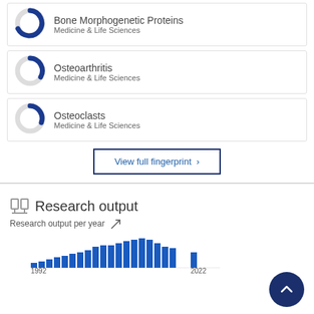Bone Morphogenetic Proteins Medicine & Life Sciences
Osteoarthritis Medicine & Life Sciences
Osteoclasts Medicine & Life Sciences
View full fingerprint >
Research output
[Figure (bar-chart): Research output per year]